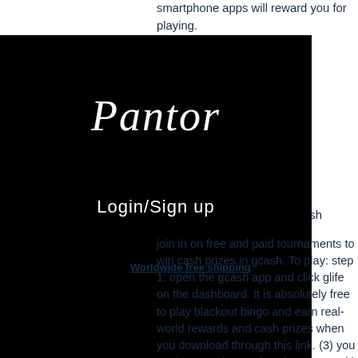smartphone apps will reward you for playing. and from play r join and ent it be mes es with er real cash. That money to enter cash tournaments join in on free and paid tournaments to win cash prizes in gcash. To play: step 1: open the gcash app and click glife on the dashboard. It is absolutely free to play blackout bingo and earn real-world rewards and cash prizes when you download through this link. (3) you use these coins to play slot games with prizes ranging from $100 to $1,000,000! so
[Figure (screenshot): Black overlay box showing Pantor logo in cursive white text and 'Login/Sign up' text below]
Worldwide free shipping